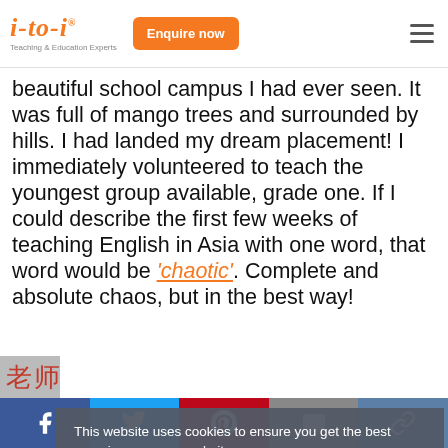i-to-i Teaching & Education Experts | Enquire now
beautiful school campus I had ever seen. It was full of mango trees and surrounded by hills. I had landed my dream placement! I immediately volunteered to teach the youngest group available, grade one. If I could describe the first few weeks of teaching English in Asia with one word, that word would be 'chaotic'. Complete and absolute chaos, but in the best way!
This website uses cookies to ensure you get the best experience on our website.
Learn more
Got it!
Facebook | Twitter | Pinterest | Email | Link